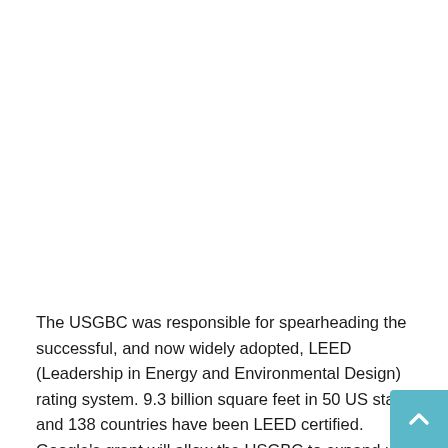The USGBC was responsible for spearheading the successful, and now widely adopted, LEED (Leadership in Energy and Environmental Design) rating system. 9.3 billion square feet in 50 US states and 138 countries have been LEED certified. Google's grant will allow the USGBC to expand upon their previous experience and knowledge base to conduct more industry research, eventually leading to community awareness